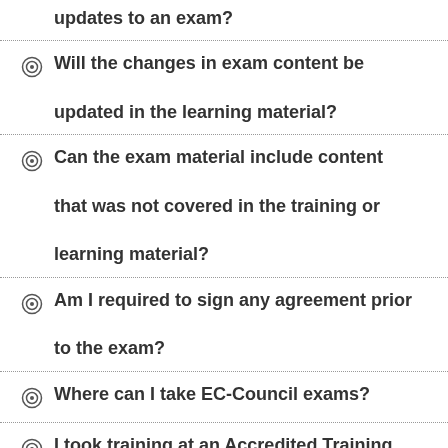updates to an exam?
Will the changes in exam content be updated in the learning material?
Can the exam material include content that was not covered in the training or learning material?
Am I required to sign any agreement prior to the exam?
Where can I take EC-Council exams?
I took training at an Accredited Training